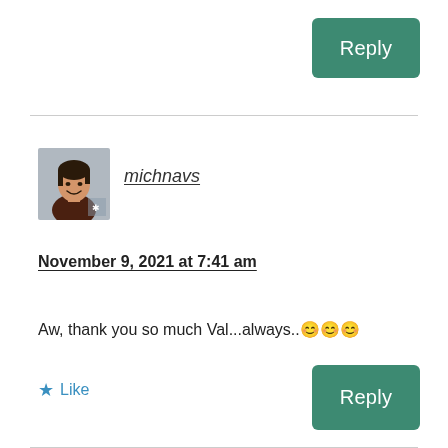Reply
[Figure (photo): Profile photo of user michnavs — woman smiling, dark top, light background]
michnavs
November 9, 2021 at 7:41 am
Aw, thank you so much Val...always..😊😊😊
★ Like
Reply